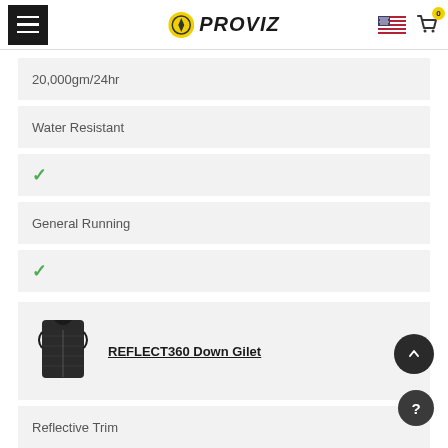PROVIZ
20,000gm/24hr
Water Resistant
✓
General Running
✓
[Figure (photo): Product image of REFLECT360 Down Gilet, a black quilted vest/gilet]
REFLECT360 Down Gilet
Reflective Trim
25,000gm/24hr